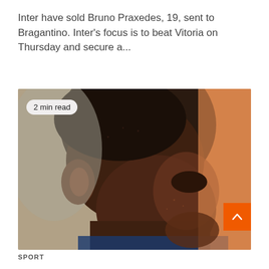Inter have sold Bruno Praxedes, 19, sent to Bragantino. Inter's focus is to beat Vitoria on Thursday and secure a...
[Figure (photo): Close-up photo of a man with short hair bowing his head downward, against a blurred orange and grey background. A '2 min read' badge is overlaid on the top-left of the image. An orange scroll-to-top button with a caret/arrow is in the bottom-right.]
SPORT